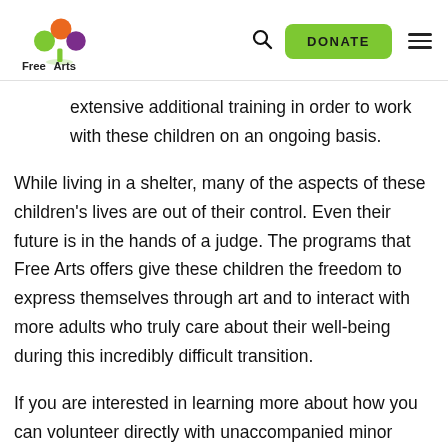Free Arts | DONATE
extensive additional training in order to work with these children on an ongoing basis.
While living in a shelter, many of the aspects of these children's lives are out of their control. Even their future is in the hands of a judge. The programs that Free Arts offers give these children the freedom to express themselves through art and to interact with more adults who truly care about their well-being during this incredibly difficult transition.
If you are interested in learning more about how you can volunteer directly with unaccompanied minor children...